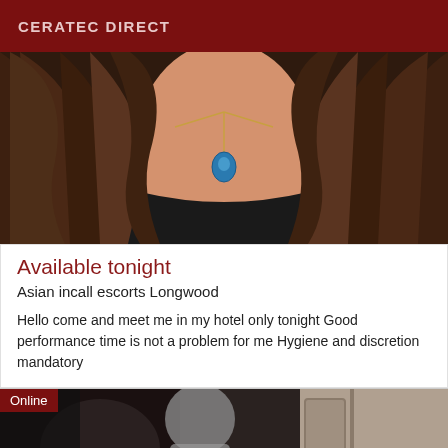CERATEC DIRECT
[Figure (photo): Close-up photo of a woman with long dark brown hair wearing a blue teardrop pendant necklace and dark top]
Available tonight
Asian incall escorts Longwood
Hello come and meet me in my hotel only tonight Good performance time is not a problem for me Hygiene and discretion mandatory
[Figure (photo): Photo showing a person in dim lighting near a door, with an 'Online' badge overlay in the top-left corner]